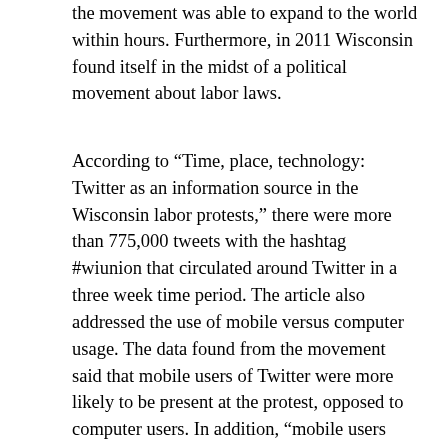the movement was able to expand to the world within hours.  Furthermore, in 2011 Wisconsin found itself in the midst of a political movement about labor laws.
According to “Time, place, technology: Twitter as an information source in the Wisconsin labor protests,” there were more than 775,000 tweets with the hashtag #wiunion that circulated around Twitter in a three week time period.  The article also addressed the use of mobile versus computer usage. The data found from the movement said that mobile users of Twitter were more likely to be present at the protest, opposed to computer users. In addition, “mobile users post fewer URLs overall; however, when they do, they are more likely to link to traditional news sources and to provide additional hashtags for context,” explains the article.  Ultimately, all source linkage—mobile or stationary—will decline as the movement continues, or ages.